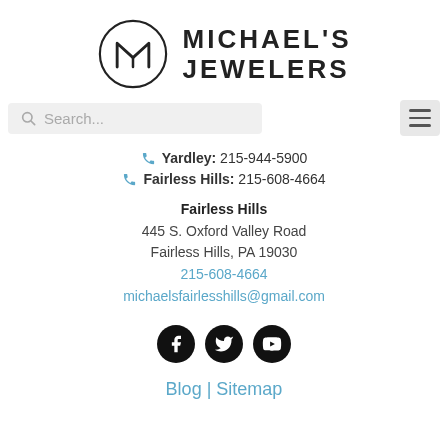[Figure (logo): Michael's Jewelers logo with circular M monogram and text MICHAEL'S JEWELERS]
Search...
Yardley: 215-944-5900
Fairless Hills: 215-608-4664
Fairless Hills
445 S. Oxford Valley Road
Fairless Hills, PA 19030
215-608-4664
michaelsfairlesshills@gmail.com
[Figure (illustration): Social media icons: Facebook, Twitter, YouTube — black circular buttons]
Blog | Sitemap